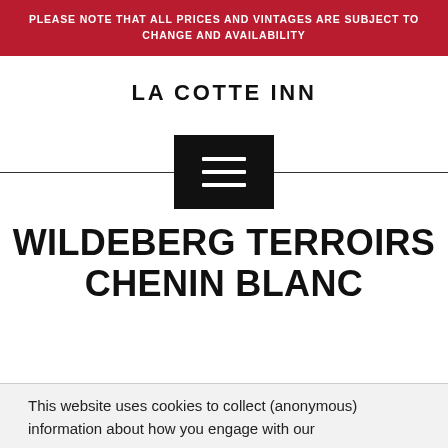PLEASE NOTE THAT ALL PRICES AND VINTAGES ARE SUBJECT TO CHANGE AND AVAILABILITY
LA COTTE INN
[Figure (other): Black square button with three horizontal white lines (hamburger/menu icon), centered on a horizontal divider line]
WILDEBERG TERROIRS CHENIN BLANC
This website uses cookies to collect (anonymous) information about how you engage with our